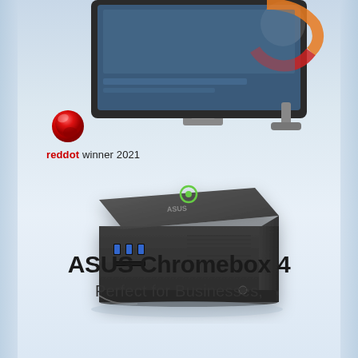[Figure (photo): ASUS monitor displaying Chrome browser on a light blue gradient background, partially visible at the top of the page]
[Figure (logo): Red Dot winner 2021 award logo — red spherical dot icon above text reading 'reddot winner 2021']
[Figure (photo): ASUS Chromebox 4 mini PC device — compact dark gray/black desktop computer with USB ports and card reader visible on the front, shown at a slight angle]
ASUS Chromebox 4
Perfect for Businesses,